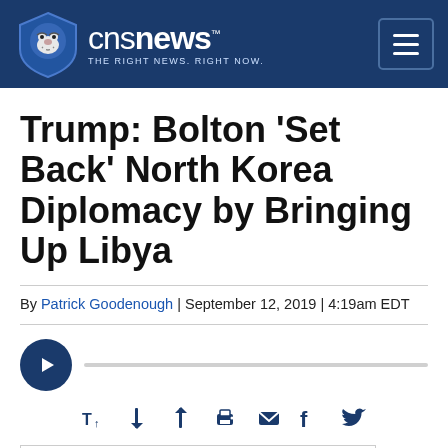[Figure (logo): CNSNews logo with bulldog mascot in shield, white text on dark blue background, tagline: THE RIGHT NEWS. RIGHT NOW.]
Trump: Bolton 'Set Back' North Korea Diplomacy by Bringing Up Libya
By Patrick Goodenough | September 12, 2019 | 4:19am EDT
[Figure (other): Audio player with play button and progress bar, followed by toolbar with text size, print, email, Facebook, and Twitter icons]
[Figure (photo): Image placeholder at bottom of page]